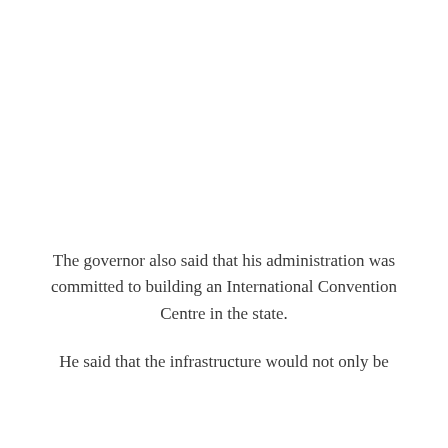The governor also said that his administration was committed to building an International Convention Centre in the state.
He said that the infrastructure would not only be